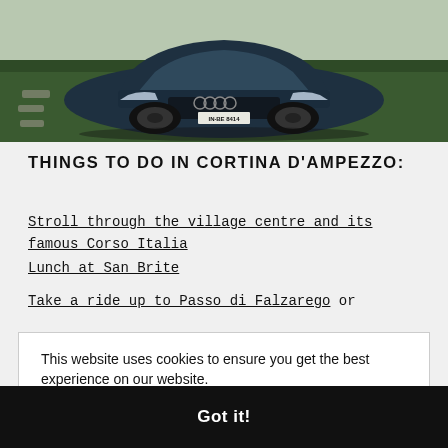[Figure (photo): Front view of a dark teal/blue Audi electric car parked on grass with stepping stones, license plate IN-BE 8414]
THINGS TO DO IN CORTINA D'AMPEZZO:
Stroll through the village centre and its famous Corso Italia
Lunch at San Brite
Take a ride up to Passo di Falzarego or
This website uses cookies to ensure you get the best experience on our website.
Learn more
Got it!
Scoiattoli